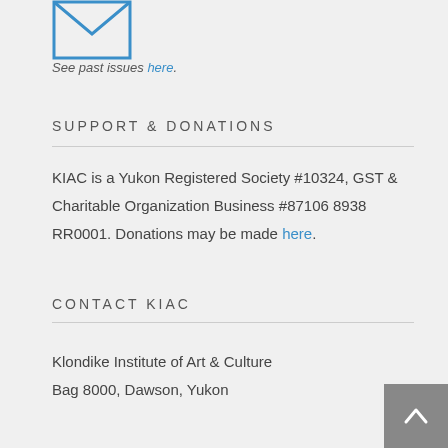[Figure (illustration): Blue envelope icon (letter/mail symbol)]
See past issues here.
SUPPORT & DONATIONS
KIAC is a Yukon Registered Society #10324, GST & Charitable Organization Business #87106 8938 RR0001. Donations may be made here.
CONTACT KIAC
Klondike Institute of Art & Culture
Bag 8000, Dawson, Yukon